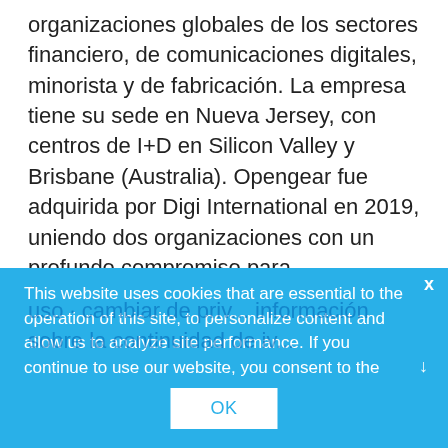organizaciones globales de los sectores financiero, de comunicaciones digitales, minorista y de fabricación. La empresa tiene su sede en Nueva Jersey, con centros de I+D en Silicon Valley y Brisbane (Australia). Opengear fue adquirida por Digi International en 2019, uniendo dos organizaciones con un profundo compromiso para proporcionar los mejores productos, software y servicios que satisfagan las demandas de las redes de misión crítica. Para obtener más información, visite
This website uses cookies that are essential to the operation of this site, to personalize content and allow us to analyze site performance. If you continue to use our website, you consent to the
OK